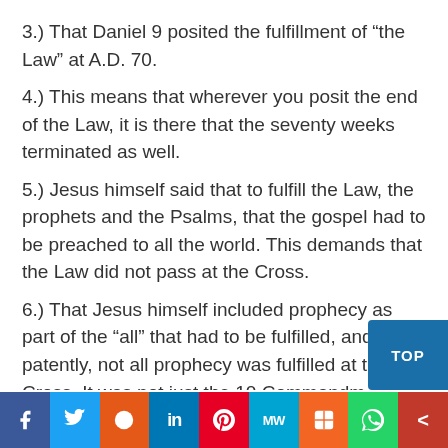3.) That Daniel 9 posited the fulfillment of “the Law” at A.D. 70.
4.) This means that wherever you posit the end of the Law, it is there that the seventy weeks terminated as well.
5.) Jesus himself said that to fulfill the Law, the prophets and the Psalms, that the gospel had to be preached to all the world. This demands that the Law did not pass at the Cross.
6.) That Jesus himself included prophecy as part of the “all” that had to be fulfilled, and that patently, not all prophecy was fulfilled at the Cross. It was not just the 10 Commandm...